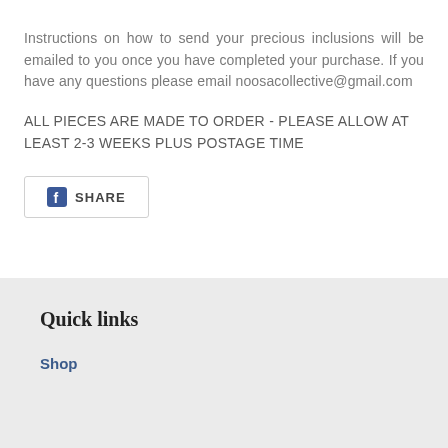Instructions on how to send your precious inclusions will be emailed to you once you have completed your purchase. If you have any questions please email noosacollective@gmail.com
ALL PIECES ARE MADE TO ORDER - PLEASE ALLOW AT LEAST 2-3 WEEKS PLUS POSTAGE TIME
[Figure (other): Facebook share button with 'f' logo icon and SHARE label, inside a rectangular border]
Quick links
Shop